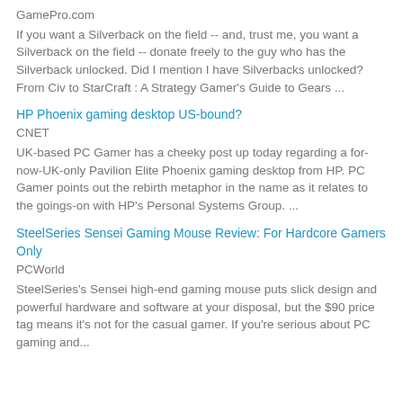GamePro.com
If you want a Silverback on the field -- and, trust me, you want a Silverback on the field -- donate freely to the guy who has the Silverback unlocked. Did I mention I have Silverbacks unlocked? From Civ to StarCraft : A Strategy Gamer's Guide to Gears ...
HP Phoenix gaming desktop US-bound?
CNET
UK-based PC Gamer has a cheeky post up today regarding a for-now-UK-only Pavilion Elite Phoenix gaming desktop from HP. PC Gamer points out the rebirth metaphor in the name as it relates to the goings-on with HP's Personal Systems Group. ...
SteelSeries Sensei Gaming Mouse Review: For Hardcore Gamers Only
PCWorld
SteelSeries's Sensei high-end gaming mouse puts slick design and powerful hardware and software at your disposal, but the $90 price tag means it's not for the casual gamer. If you're serious about PC gaming and...